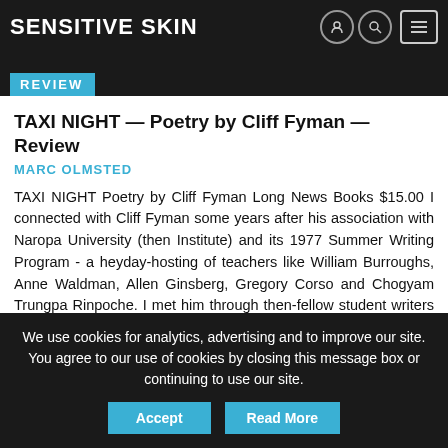SENSITIVE SKIN
REVIEW
TAXI NIGHT — Poetry by Cliff Fyman — Review
MARC OLMSTED
TAXI NIGHT Poetry by Cliff Fyman Long News Books $15.00 I connected with Cliff Fyman some years after his association with Naropa University (then Institute) and its 1977 Summer Writing Program - a heyday-hosting of teachers like William Burroughs, Anne Waldman, Allen Ginsberg, Gregory Corso and Chogyam Trungpa Rinpoche. I met him through then-fellow student writers Peter Marti and Vincent Zangrillo. Although late in the book, there is this poetic statement from Fyman, and it sums up his view: I see every object alive and luminous and at the same time I see the decay and death inherent in it's very
We use cookies for analytics, advertising and to improve our site. You agree to our use of cookies by closing this message box or continuing to use our site.
Accept  Read More